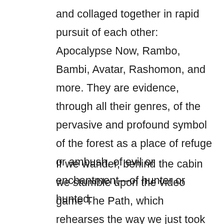and collaged together in rapid pursuit of each other: Apocalypse Now, Rambo, Bambi, Avatar, Rashomon, and more. They are evidence, through all their genres, of the pervasive and profound symbol of the forest as a place of refuge or ambush, of evil or enchantment—of hunter or hunted.
If we wander, behind the cabin we stumble upon the video game The Path, which rehearses the way we just took to grannie's house. The journey then begins again, this time in digital form, as we traverse the towering forest along what may be a logging road. This forest is imposing yet familiar, its image just shimmering